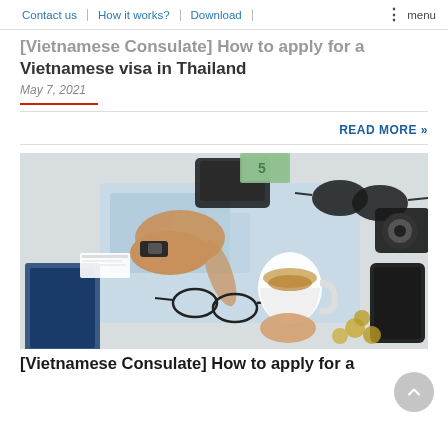Contact us | How it works? | Download | menu
[Vietnamese Consulate] How to apply for a Vietnamese visa in Thailand
May 7, 2021
READ MORE »
[Figure (photo): Person planning travel with a map, coffee, passport, glasses, phone, camera, sunglasses, wallet with money and coins on a white table]
[Vietnamese Consulate] How to apply for a